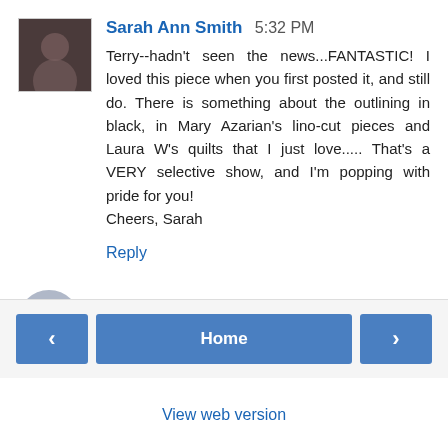[Figure (photo): Small square avatar photo of Sarah Ann Smith]
Sarah Ann Smith 5:32 PM
Terry--hadn't seen the news...FANTASTIC! I loved this piece when you first posted it, and still do. There is something about the outlining in black, in Mary Azarian's lino-cut pieces and Laura W's quilts that I just love..... That's a VERY selective show, and I'm popping with pride for you!
Cheers, Sarah
Reply
[Figure (illustration): Generic gray user avatar icon for comment input]
Enter Comment
Home
View web version